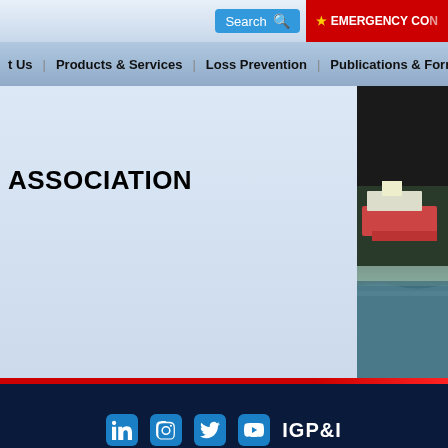[Figure (screenshot): Website navigation screenshot showing search bar and emergency contact button at top, navigation menu with Products & Services, Loss Prevention, Publications & Forms, and a large heading ASSOCIATION with a ship photograph on the right side, followed by a dark blue footer with social media icons and IGP&I logo]
Search | EMERGENCY CO...
t Us  •  Products & Services  •  Loss Prevention  •  Publications & Forms
ASSOCIATION
eamship Owners Mutual Protection and Indemnity Association, Inc. - Shipowners Claims Bu... | Home • Office Locations • Sitemap • Industry Links • Disclaimers • About the Club